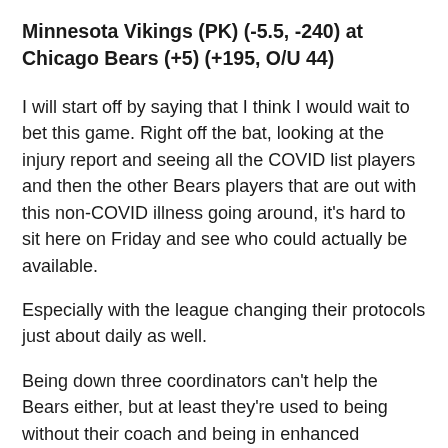Minnesota Vikings (PK) (-5.5, -240) at Chicago Bears (+5) (+195, O/U 44)
I will start off by saying that I think I would wait to bet this game. Right off the bat, looking at the injury report and seeing all the COVID list players and then the other Bears players that are out with this non-COVID illness going around, it's hard to sit here on Friday and see who could actually be available.
Especially with the league changing their protocols just about daily as well.
Being down three coordinators can't help the Bears either, but at least they're used to being without their coach and being in enhanced protocols due to their issues earlier this year.